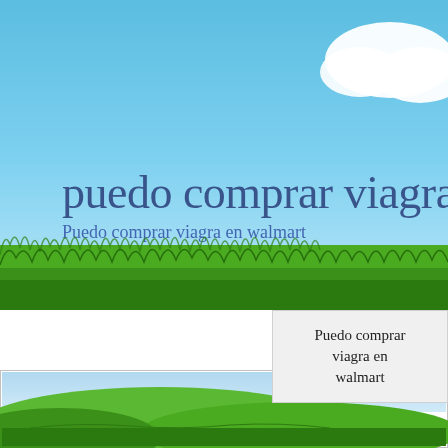[Figure (photo): Blue sky with white clouds and green grass landscape at the top portion of the page, with large text overlay reading 'puedo comprar viagra e' and subtitle 'Puedo comprar viagra en walmart']
Puedo comprar
viagra en
walmart
[Figure (photo): Green terraced hills landscape photo in the bottom portion of the page]